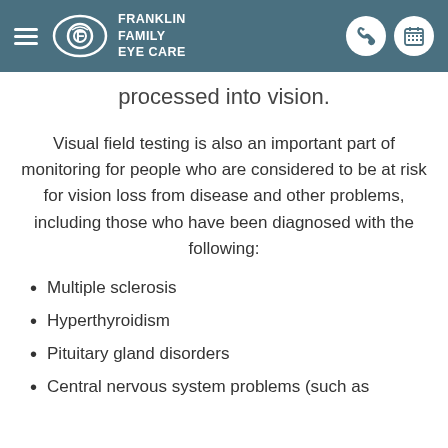Franklin Family Eye Care
processed into vision.
Visual field testing is also an important part of monitoring for people who are considered to be at risk for vision loss from disease and other problems, including those who have been diagnosed with the following:
Multiple sclerosis
Hyperthyroidism
Pituitary gland disorders
Central nervous system problems (such as